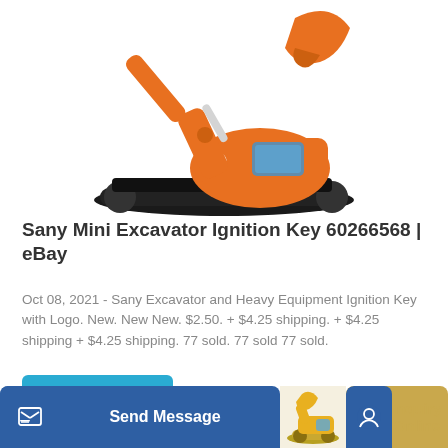[Figure (photo): Orange Sany excavator/crawler excavator shown on white background, with arm raised and bucket at top, tracks visible at bottom]
Sany Mini Excavator Ignition Key 60266568 | eBay
Oct 08, 2021 - Sany Excavator and Heavy Equipment Ignition Key with Logo. New. New New. $2.50. + $4.25 shipping. + $4.25 shipping + $4.25 shipping. 77 sold. 77 sold 77 sold.
Learn More
Send Message
Inquiry Online